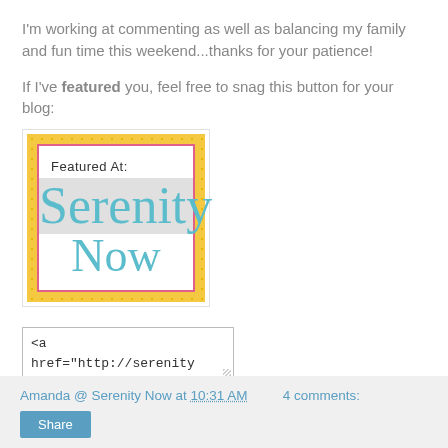I'm working at commenting as well as balancing my family and fun time this weekend...thanks for your patience!
If I've featured you, feel free to snag this button for your blog:
[Figure (logo): Featured At: Serenity Now badge with yellow patterned border, pink inner border, and teal script text]
<a href="http://serenity
Amanda @ Serenity Now at 10:31 AM    4 comments:
Share